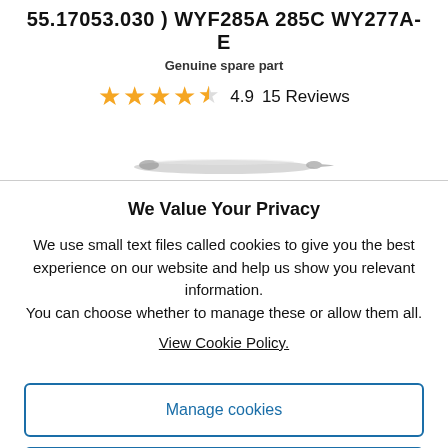55.17053.030 ) WYF285A 285C WY277A-E
Genuine spare part
[Figure (other): 5 star rating display showing 4.9 out of 5 stars, with text '4.9   15 Reviews']
[Figure (photo): Partial product image of a spare part (appears to be a sewing needle or similar thin metallic part), partially visible at the bottom of the product section]
We Value Your Privacy
We use small text files called cookies to give you the best experience on our website and help us show you relevant information.
You can choose whether to manage these or allow them all.
View Cookie Policy.
Manage cookies
Allow All